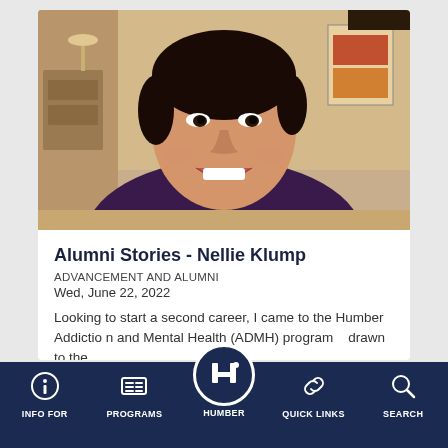[Figure (photo): Portrait photo of Nellie Klump, a smiling woman with dark hair pulled back, wearing a dark purple top, seated at a table with a warm interior background.]
Alumni Stories - Nellie Klump
ADVANCEMENT AND ALUMNI
Wed, June 22, 2022
Looking to start a second career, I came to the Humber Addiction and Mental Health (ADMH) program... drawn to the
[Figure (logo): Humber College logo - circular icon with stylized H letter in white on dark navy background, with a dot, shown in bottom navigation bar]
INFO FOR   PROGRAMS   HUMBER   QUICK LINKS   SEARCH